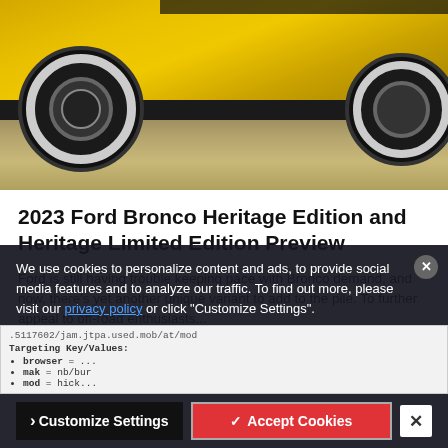[Figure (photo): Yellow Ford Bronco lower body showing front wheels with white-wall tires, black bumper, and desert/dirt ground background with green scrub vegetation]
2023 Ford Bronco Heritage Edition and Heritage Limited Edition Preview
Ford is still having trouble keeping pace with Bronco demand, and now, there's yet another unique variant to add to the pile. To further appeal to off-road enthusiasts...
We use cookies to personalize content and ads, to provide social media features and to analyze our traffic. To find out more, please visit our privacy policy or click "Customize Settings".
...5117602/jam.jtpa.used.mob/at/mod
Targeting Key/Values:
• browser = ...
• mak = nb/bur
• mod = hick...